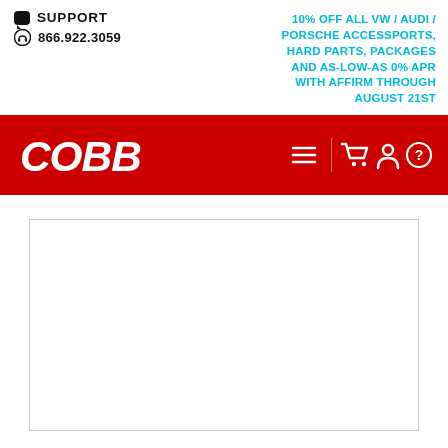SUPPORT
866.922.3059
10% OFF ALL VW / AUDI / PORSCHE ACCESSPORTS, HARD PARTS, PACKAGES AND AS-LOW-AS 0% APR WITH AFFIRM THROUGH AUGUST 21ST
[Figure (logo): COBB logo in white italic text on red navigation bar with hamburger menu, shopping cart, user, and help icons]
[Figure (other): Empty white content area with a bordered rectangle placeholder (product image area)]